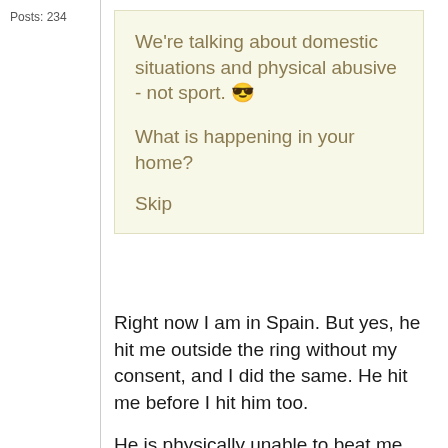Posts: 234
We're talking about domestic situations and physical abusive - not sport. 😎

What is happening in your home?

Skip
Right now I am in Spain. But yes, he hit me outside the ring without my consent, and I did the same. He hit me before I hit him too.
He is physically unable to beat me